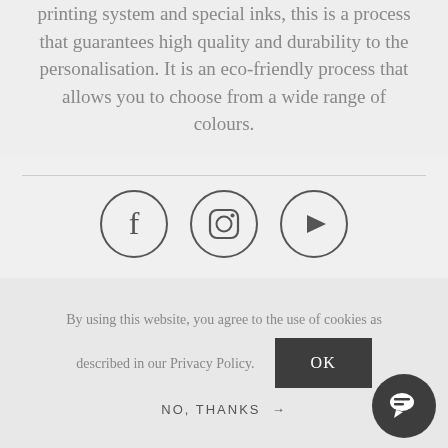printing system and special inks, this is a process that guarantees high quality and durability to the personalisation. It is an eco-friendly process that allows you to choose from a wide range of colours.
[Figure (illustration): Social media icons: Facebook, Instagram, YouTube — each in a circle outline]
[Figure (logo): Starfield Technologies Verified & Secured badge with registered trademark symbol]
By using this website, you agree to the use of cookies as described in our Privacy Policy.
NO, THANKS →